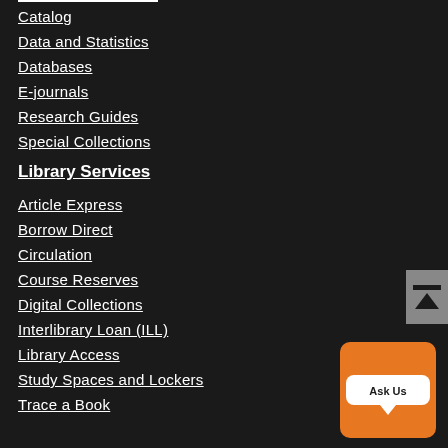Catalog
Data and Statistics
Databases
E-journals
Research Guides
Special Collections
Library Services
Article Express
Borrow Direct
Circulation
Course Reserves
Digital Collections
Interlibrary Loan (ILL)
Library Access
Study Spaces and Lockers
Trace a Book
[Figure (other): Scroll to top button with a minus icon and upward arrow]
[Figure (other): Ask Us chat bubble button on orange rounded square background]